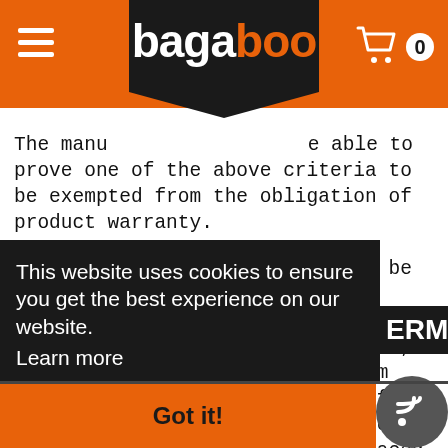bagaboo — navigation header with logo, hamburger menu, and cart icon showing 0 items
The manufacturer must be able to prove one of the above criteria to be exempted from the obligation of product warranty. Please note, that you shall not be entitled to implement a claim regarding liability for defects and product warranty at the same time, simultaneously. Shall your claim for product warranty be successful, you may implement a liability for defects on the repaired or replaced part of the product towards the
This website uses cookies to ensure you get the best experience on our website. Learn more
ERMS
Got it!